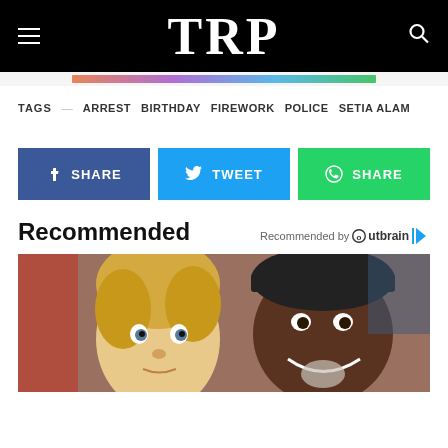TRP
TAGS — ARREST BIRTHDAY FIREWORK POLICE SETIA ALAM
f SHARE | TWEET | SHARE
Recommended
Recommended by Outbrain
[Figure (photo): Photo of a young blonde girl and a smiling Black man in a high-visibility vest]